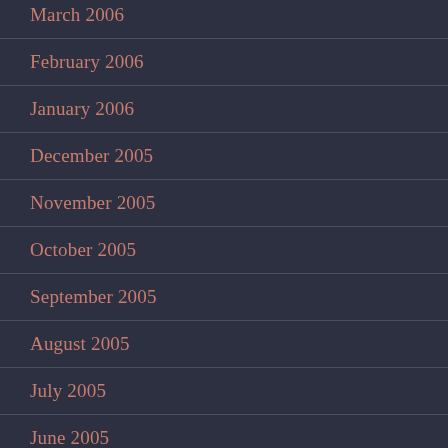March 2006
February 2006
January 2006
December 2005
November 2005
October 2005
September 2005
August 2005
July 2005
June 2005
May 2005
April 2005